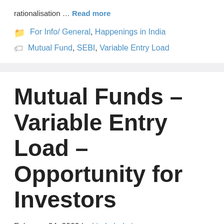rationalisation … Read more
For Info/ General, Happenings in India
Mutual Fund, SEBI, Variable Entry Load
Mutual Funds – Variable Entry Load – Opportunity for Investors
February 24, 2009 by kirukuladmin